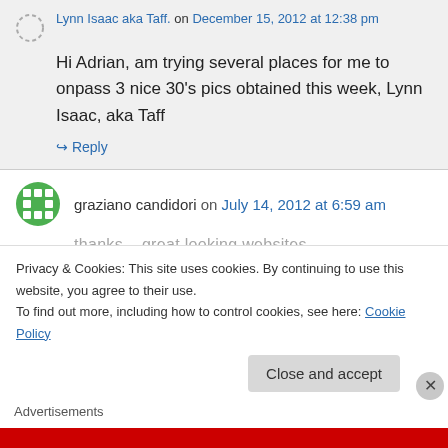Lynn Isaac aka Taff. on December 15, 2012 at 12:38 pm
Hi Adrian, am trying several places for me to onpass 3 nice 30's pics obtained this week, Lynn Isaac, aka Taff
↪ Reply
graziano candidori on July 14, 2012 at 6:59 am
thanks... great looking websites
Privacy & Cookies: This site uses cookies. By continuing to use this website, you agree to their use.
To find out more, including how to control cookies, see here: Cookie Policy
Close and accept
Advertisements